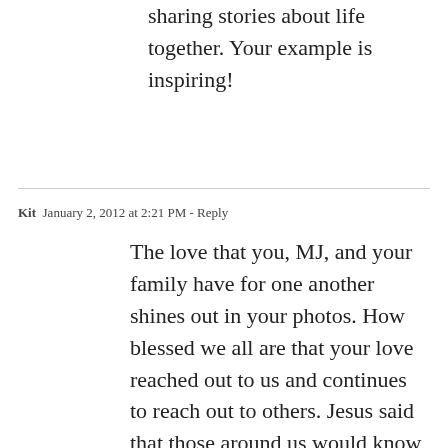sharing stories about life together. Your example is inspiring!
Kit  January 2, 2012 at 2:21 PM - Reply
The love that you, MJ, and your family have for one another shines out in your photos. How blessed we all are that your love reached out to us and continues to reach out to others. Jesus said that those around us would know we are